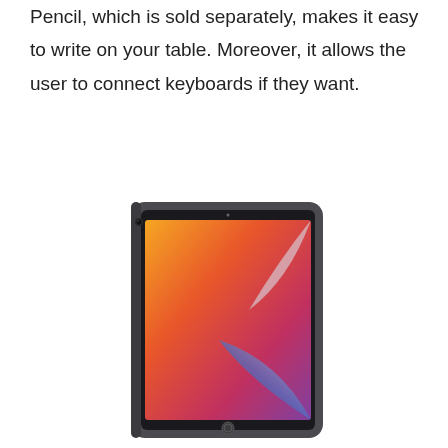Pencil, which is sold separately, makes it easy to write on your table. Moreover, it allows the user to connect keyboards if they want.
[Figure (photo): Apple iPad (8th generation) in Space Gray color, shown at a slight angle with a colorful gradient wallpaper (orange, red, blue, purple) on the screen.]